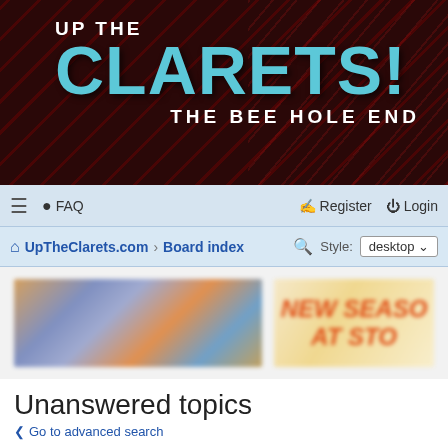[Figure (screenshot): Up The Clarets! The Bee Hole End website banner with teal/cyan large text on dark red background]
≡  FAQ  Register  Login
UpTheClarets.com › Board index  Style: desktop
[Figure (photo): Two banner advertisements: a blurred sports/merchandise photo on the left and a blurred 'NEW SEASON' promotional banner on the right]
Unanswered topics
< Go to advanced search
Search these results
Search found more than 1000 matches  1  2  3  4  5  ...  20  >
Topics
Franchi interview